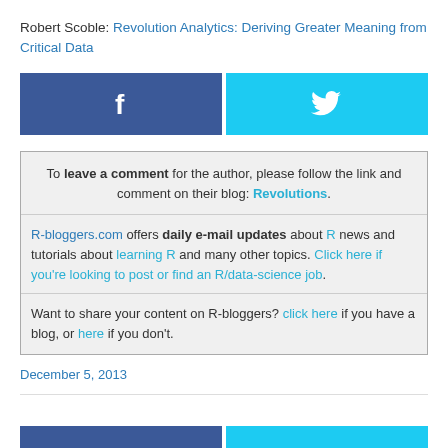Robert Scoble: Revolution Analytics: Deriving Greater Meaning from Critical Data
[Figure (other): Facebook and Twitter social share buttons]
To leave a comment for the author, please follow the link and comment on their blog: Revolutions.

R-bloggers.com offers daily e-mail updates about R news and tutorials about learning R and many other topics. Click here if you're looking to post or find an R/data-science job.

Want to share your content on R-bloggers? click here if you have a blog, or here if you don't.
December 5, 2013
[Figure (other): Bottom social share buttons (partial)]